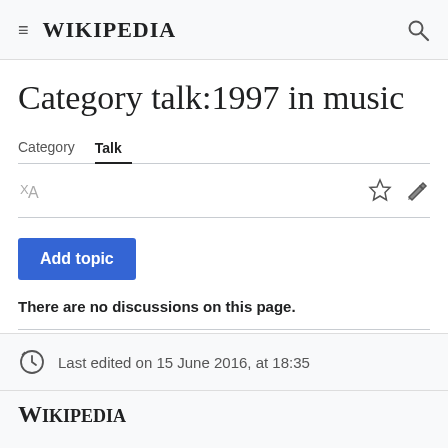Wikipedia
Category talk:1997 in music
Category  Talk
Add topic
There are no discussions on this page.
Last edited on 15 June 2016, at 18:35
Wikipedia